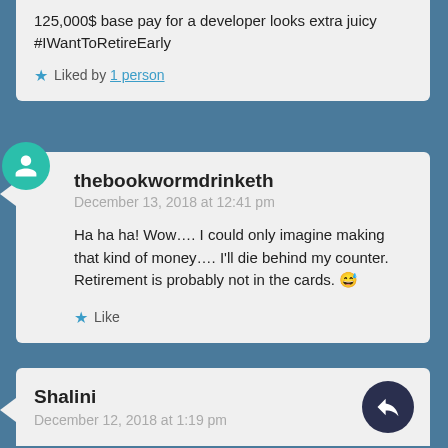125,000$ base pay for a developer looks extra juicy #IWantToRetireEarly
Liked by 1 person
thebookwormdrinketh
December 13, 2018 at 12:41 pm
Ha ha ha! Wow.... I could only imagine making that kind of money.... I'll die behind my counter. Retirement is probably not in the cards. 😅
Like
Shalini
December 12, 2018 at 1:19 pm